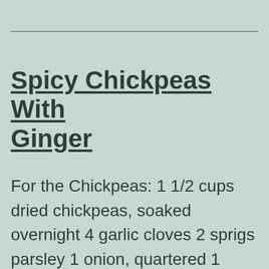Spicy Chickpeas With Ginger
For the Chickpeas: 1 1/2 cups dried chickpeas, soaked overnight 4 garlic cloves 2 sprigs parsley 1 onion, quartered 1 tablespoon olive oil 2 teaspoons sea salt For the Sauce: 3 tablespoons mustard oil or vegetable oil 1 large onion, finely diced 1 bay leaf 2 garlic